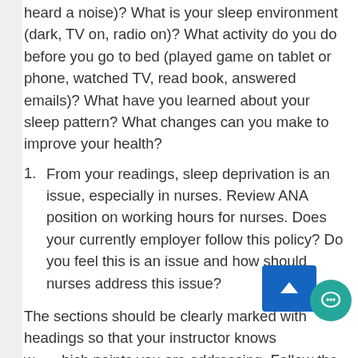heard a noise)? What is your sleep environment (dark, TV on, radio on)? What activity do you do before you go to bed (played game on tablet or phone, watched TV, read book, answered emails)? What have you learned about your sleep pattern? What changes can you make to improve your health?
From your readings, sleep deprivation is an issue, especially in nurses. Review ANA position on working hours for nurses. Does your currently employer follow this policy? Do you feel this is an issue and how should nurses address this issue?
The sections should be clearly marked with headings so that your instructor knows which points you are addressing. Follow the guidelines for APA writing style. Make direct